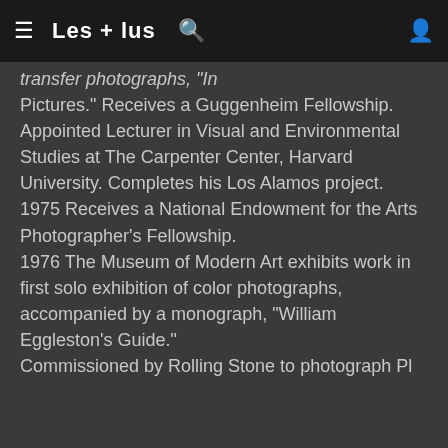≡ Les + lus 🔍 👤
transfer photographs, "In Pictures." Receives a Guggenheim Fellowship. Appointed Lecturer in Visual and Environmental Studies at The Carpenter Center, Harvard University. Completes his Los Alamos project. 1975 Receives a National Endowment for the Arts Photographer's Fellowship. 1976 The Museum of Modern Art exhibits work in first solo exhibition of color photographs, accompanied by a monograph, "William Eggleston's Guide." Commissioned by Rolling Stone to photograph Pl...